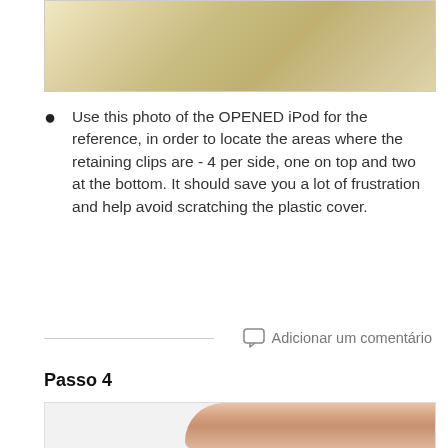[Figure (photo): Top portion of a photo showing an opened iPod with wooden/light-colored surface and a small metal component visible]
Use this photo of the OPENED iPod for the reference, in order to locate the areas where the retaining clips are - 4 per side, one on top and two at the bottom. It should save you a lot of frustration and help avoid scratching the plastic cover.
Adicionar um comentário
Passo 4
[Figure (photo): Bottom portion showing fingers handling an iPod component, white background on left side and skin-toned fingers on right side]